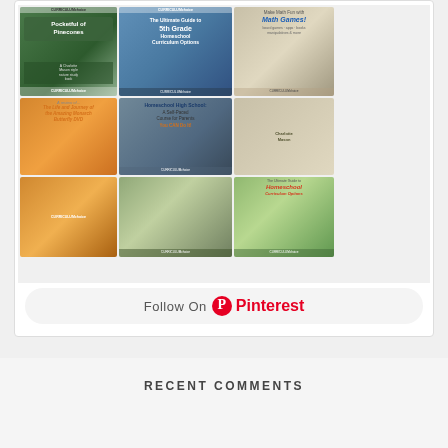[Figure (screenshot): Pinterest board widget showing a collage of Curriculum Choice homeschool educational content thumbnails including: Pocketful of Pinecones nature study book, The Ultimate Guide to 5th Grade Homeschool Curriculum Options, Make Math Fun with Math Games, A review of The Life and Journey of the Amazing Monarch Butterfly DVD, Homeschool High School: A Self-Paced Course for Parents You CAN Do It!, and Charlotte Mason Picture Book Biography Review]
[Figure (screenshot): Follow On Pinterest button with Pinterest logo (red circle with P and Pinterest text in red)]
RECENT COMMENTS